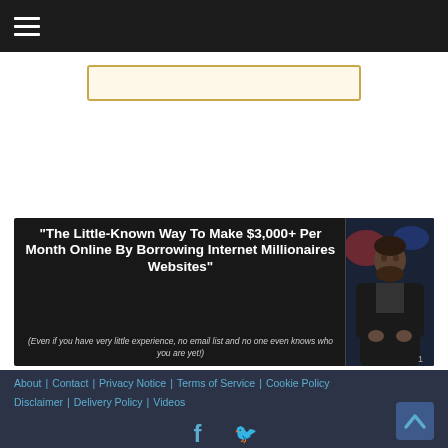Navigation bar with hamburger menu icon
[Figure (screenshot): Partial search bar with gold/yellow border on white background]
[Figure (infographic): Dark banner ad: "The Little-Known Way To Make $3,000+ Per Month Online By Borrowing Internet Millionaires Websites" with subtitle "(Even if you have very little experience, no email list and no one even knows who you are yet!)" and a photo of a man in a black jacket on the right side]
About | Contact | Privacy Notice | Terms of Service | Cookie Policy | Disclaimer | Delivery Policy | Videos